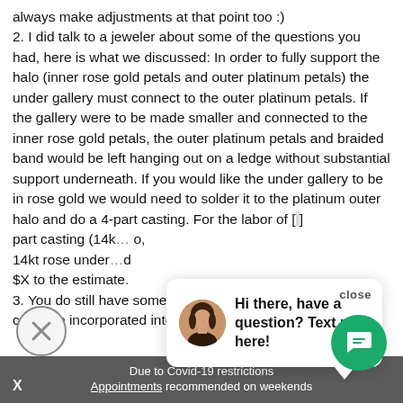always make adjustments at that point too :)
2. I did talk to a jeweler about some of the questions you had, here is what we discussed: In order to fully support the halo (inner rose gold petals and outer platinum petals) the under gallery must connect to the outer platinum petals. If the gallery were to be made smaller and connected to the inner rose gold petals, the outer platinum petals and braided band would be left hanging out on a ledge without substantial support underneath. If you would like the under gallery to be in rose gold we would need to solder it to the platinum outer halo and do a 4-part casting. For the labor of [part casting (14k... ...o, 14kt rose under... ...d $X to the estimate.
3. You do still have some accent white diamonds w[hich] could be incorporated into the under gallery. Kee[p it and...
[Figure (other): Chat popup overlay with close button, avatar photo of a woman, and message 'Hi there, have a question? Text us here!']
[Figure (other): Close/dismiss circle button with X icon, bottom left]
[Figure (other): Green circular chat FAB button with chat icon, bottom right]
Due to Covid-19 restrictions
Appointments recommended on weekends